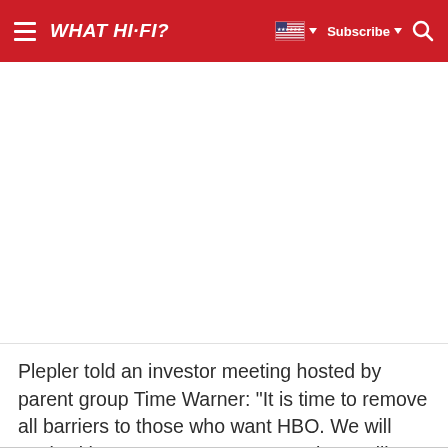WHAT HI-FI?
[Figure (screenshot): Large blank white advertisement/image area beneath the navigation header]
Plepler told an investor meeting hosted by parent group Time Warner: "It is time to remove all barriers to those who want HBO. We will work with our current partners. And, we will explore models with new